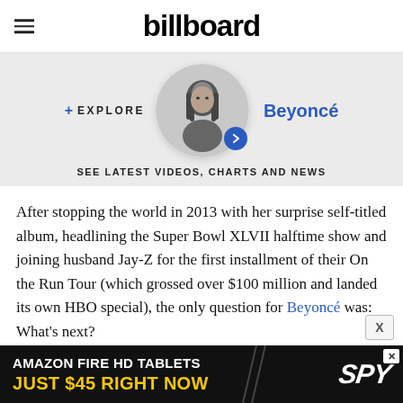billboard
[Figure (infographic): Explore Beyoncé banner with circular black-and-white portrait photo, blue chevron button, and text 'SEE LATEST VIDEOS, CHARTS AND NEWS']
After stopping the world in 2013 with her surprise self-titled album, headlining the Super Bowl XLVII halftime show and joining husband Jay-Z for the first installment of their On the Run Tour (which grossed over $100 million and landed its own HBO special), the only question for Beyoncé was: What's next?
[Figure (infographic): Amazon Fire HD Tablets advertisement: 'AMAZON FIRE HD TABLETS JUST $45 RIGHT NOW' with SPY logo]